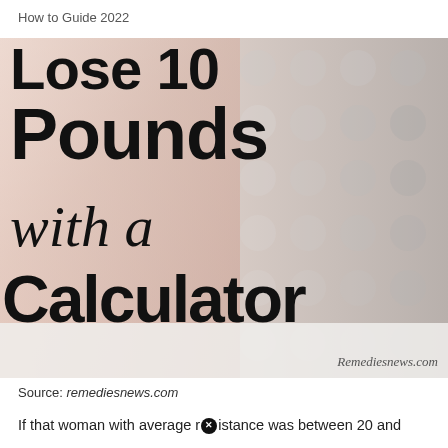How to Guide 2022
[Figure (illustration): Image showing bold text 'Lose 10 Pounds with a Calculator' overlaid on a photo of a hand holding a calculator, with the website watermark 'Remediesnews.com' in the bottom right corner.]
Source: remediesnews.com
If that woman with average resistance was between 20 and